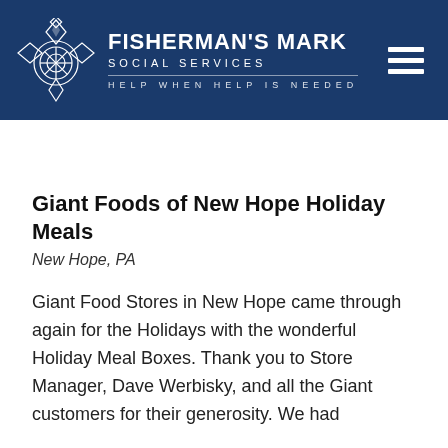Fisherman's Mark Social Services — Help When Help Is Needed
Giant Foods of New Hope Holiday Meals
New Hope, PA
Giant Food Stores in New Hope came through again for the Holidays with the wonderful Holiday Meal Boxes. Thank you to Store Manager, Dave Werbisky, and all the Giant customers for their generosity. We had